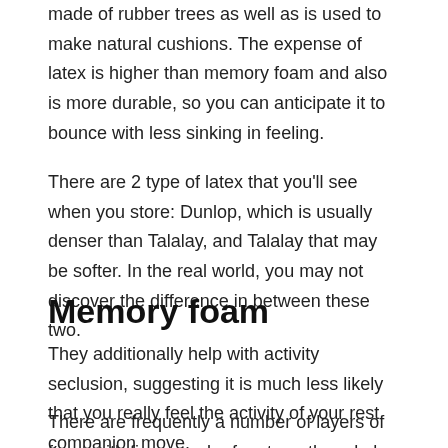made of rubber trees as well as is used to make natural cushions. The expense of latex is higher than memory foam and also is more durable, so you can anticipate it to bounce with less sinking in feeling.
There are 2 type of latex that you'll see when you store: Dunlop, which is usually denser than Talalay, and Talalay that may be softer. In the real world, you may not discover the difference in between these two.
Memory foam
They additionally help with activity seclusion, suggesting it is much less likely that you really feel the activity of your rest companion move.
There are frequently a number of layers of foam with firmer under for strength and also support, as well as soft foam ahead to